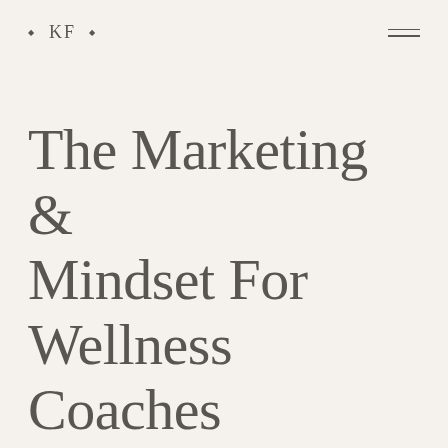• KF •
The Marketing & Mindset For Wellness Coaches Podcast